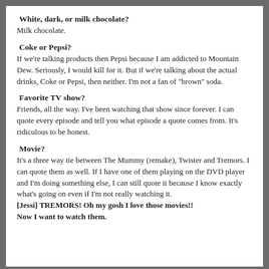White, dark, or milk chocolate?
Milk chocolate.
Coke or Pepsi?
If we're talking products then Pepsi because I am addicted to Mountain Dew. Seriously, I would kill for it. But if we're talking about the actual drinks, Coke or Pepsi, then neither. I'm not a fan of "brown" soda.
Favorite TV show?
Friends, all the way. I've been watching that show since forever. I can quote every episode and tell you what episode a quote comes from. It's ridiculous to be honest.
Movie?
It's a three way tie between The Mummy (remake), Twister and Tremors. I can quote them as well. If I have one of them playing on the DVD player and I'm doing something else, I can still quote it because I know exactly what's going on even if I'm not really watching it.
[Jessi] TREMORS! Oh my gosh I love those movies!!
Now I want to watch them.